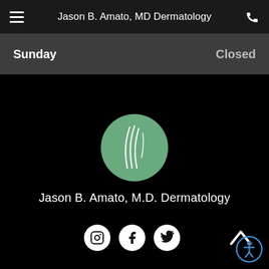Jason B. Amato, MD Dermatology
Sunday   Closed
[Figure (logo): Circular green logo with white curved leaf/feather lines — Jason B. Amato MD Dermatology brand mark]
Jason B. Amato, M.D. Dermatology
[Figure (infographic): Row of three social media icons (Instagram, Facebook, Twitter) in white circles on black background, with a scroll-to-top chevron arrow on the right]
[Figure (infographic): Accessibility icon — person in circle with outer ring, bottom right corner]